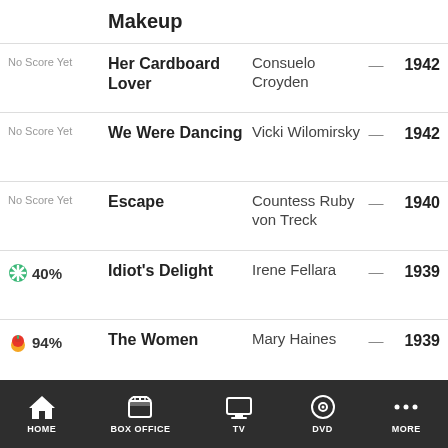Makeup
| Score | Title | Role |  | Year |
| --- | --- | --- | --- | --- |
| No Score Yet | Her Cardboard Lover | Consuelo Croyden | — | 1942 |
| No Score Yet | We Were Dancing | Vicki Wilomirsky | — | 1942 |
| No Score Yet | Escape | Countess Ruby von Treck | — | 1940 |
| 40% | Idiot's Delight | Irene Fellara | — | 1939 |
| 94% | The Women | Mary Haines | — | 1939 |
| No Score Yet | Marie Antoinette | Marie Antoinette | — | 1938 |
| 78% | Romeo and Juliet | Juliet | — | 1936 |
HOME | BOX OFFICE | TV | DVD | MORE